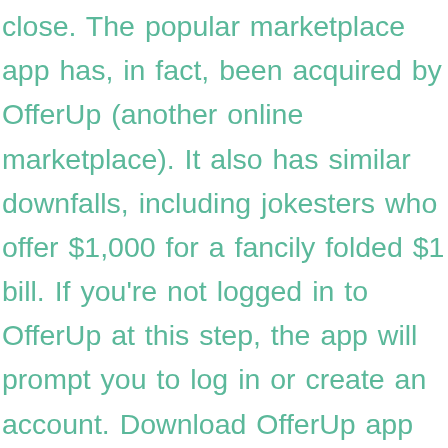close. The popular marketplace app has, in fact, been acquired by OfferUp (another online marketplace). It also has similar downfalls, including jokesters who offer $1,000 for a fancily folded $1 bill. If you're not logged in to OfferUp at this step, the app will prompt you to log in or create an account. Download OfferUp app for Android. You may collect antiques or rare treasures, buy vintage clothes and accessories or be searching for the best vehicle to suit your needs, no matter what you're looking to buy you'll find it's easy to locate on OfferUp. Post the ad. Tap the camera. Try the latest version of OfferUp 2020 for Android It's an app, it's free and it follows just a few steps. The … OfferUp is the simplest way to buy and sell locally. Secure messaging from within the app means your identity details are safe at all times whether you're buying or selling goods. Lee